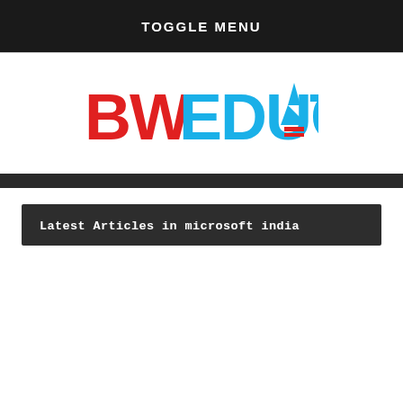TOGGLE MENU
[Figure (logo): BW EDUCATION logo — BW in red bold, EDUCATION in blue bold with a blue pen nib icon replacing the letter A]
Latest Articles in microsoft india